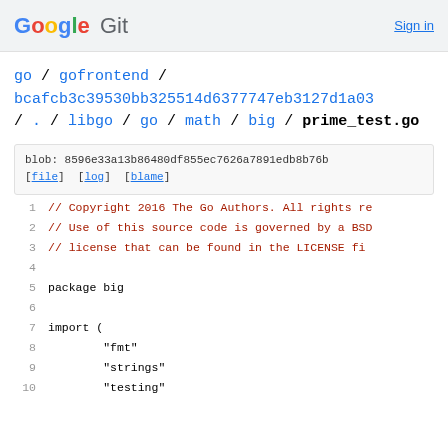Google Git  Sign in
go / gofrontend / bcafcb3c39530bb325514d6377747eb3127d1a03 / . / libgo / go / math / big / prime_test.go
blob: 8596e33a13b86480df855ec7626a7891edb8b76b [file] [log] [blame]
1  // Copyright 2016 The Go Authors. All rights res
2  // Use of this source code is governed by a BSD-
3  // license that can be found in the LICENSE fil
4
5  package big
6
7  import (
8        "fmt"
9        "strings"
10       "testing"